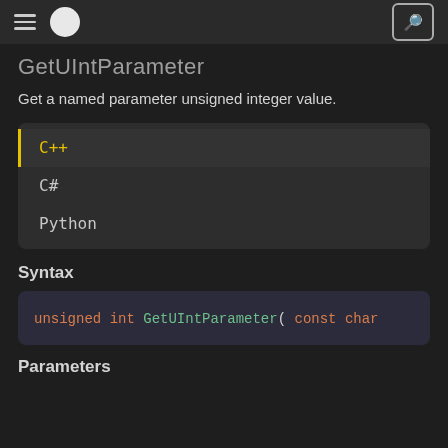GetUIntParameter
GetUIntParameter
Get a named parameter unsigned integer value.
C++
C#
Python
Syntax
unsigned int GetUIntParameter( const char
Parameters